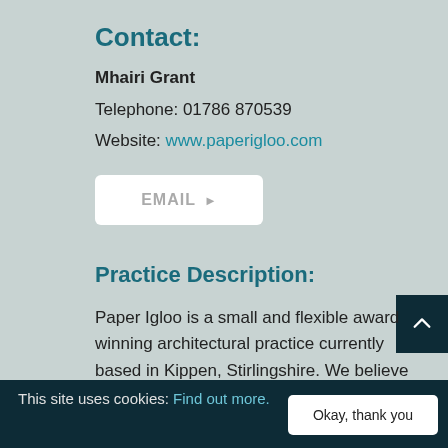Contact:
Mhairi Grant
Telephone: 01786 870539
Website: www.paperigloo.com
[Figure (other): EMAIL button with arrow]
Practice Description:
Paper Igloo is a small and flexible award winning architectural practice currently based in Kippen, Stirlingshire. We believe that fantastic architecture should permeate every aspect of all
This site uses cookies: Find out more.  |  Okay, thank you